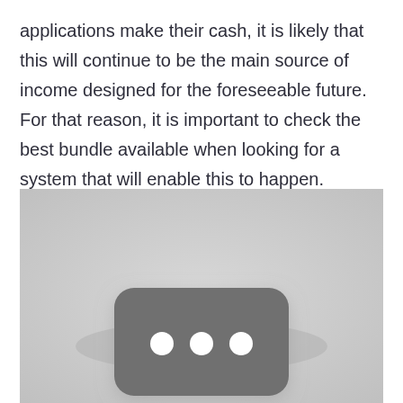applications make their cash, it is likely that this will continue to be the main source of income designed for the foreseeable future. For that reason, it is important to check the best bundle available when looking for a system that will enable this to happen.
[Figure (photo): A grayscale image with a light grey background showing a rounded-rectangle dark grey shape in the center, containing three white circles arranged horizontally, resembling a video player or media control interface. There is a subtle shadow effect beneath the dark rounded rectangle.]